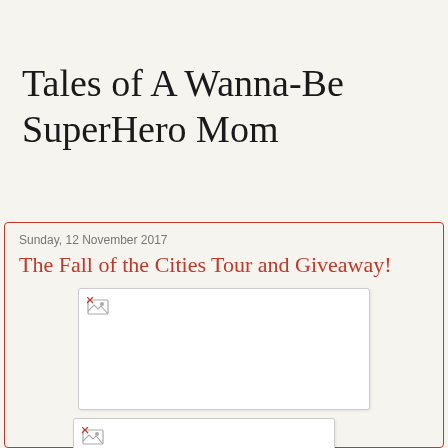Tales of A Wanna-Be SuperHero Mom
Sunday, 12 November 2017
The Fall of the Cities Tour and Giveaway!
[Figure (photo): Broken/missing image placeholder box 1]
[Figure (photo): Broken/missing image placeholder box 2 (partially visible)]